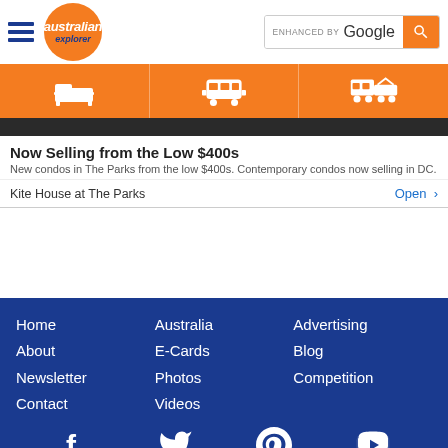[Figure (screenshot): Australian Explorer website header with hamburger menu, orange circle logo, and Google search bar]
[Figure (illustration): Orange navigation bar with white icons: bed/accommodation, bus/transport, car and accommodation combined]
Now Selling from the Low $400s
New condos in The Parks from the low $400s. Contemporary condos now selling in DC.
Kite House at The Parks    Open >
Home | Australia | Advertising | About | E-Cards | Blog | Newsletter | Photos | Competition | Contact | Videos
© Australian Explorer Pty Ltd Since 2000 | Disclaimer